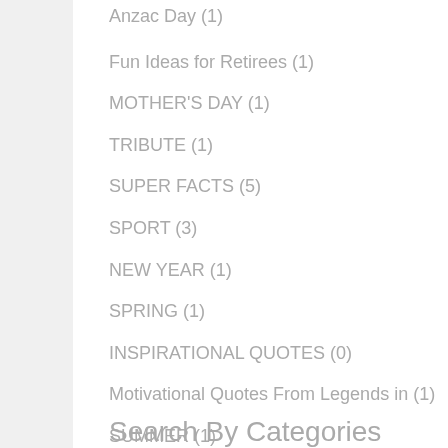Anzac Day (1)
Fun Ideas for Retirees (1)
MOTHER&#39;S DAY (1)
TRIBUTE (1)
SUPER FACTS (5)
SPORT (3)
NEW YEAR (1)
SPRING (1)
INSPIRATIONAL QUOTES (0)
Motivational Quotes From Legends in (1)
SUMMER (1)
Follow Us
Search By Categories